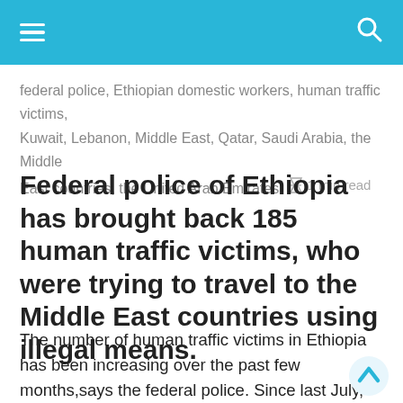≡  🔍
federal police, Ethiopian domestic workers, human traffic victims, Kuwait, Lebanon, Middle East, Qatar, Saudi Arabia, the Middle East countries, the United Arab Emirates  ⧗  1 min read
Federal police of Ethiopia has brought back 185 human traffic victims, who were trying to travel to the Middle East countries using illegal means.
The number of human traffic victims in Ethiopia has been increasing over the past few months,says the federal police. Since last July, the police have captured a total of 821 Ethiopians who were trying to travel to the Middle east countries.